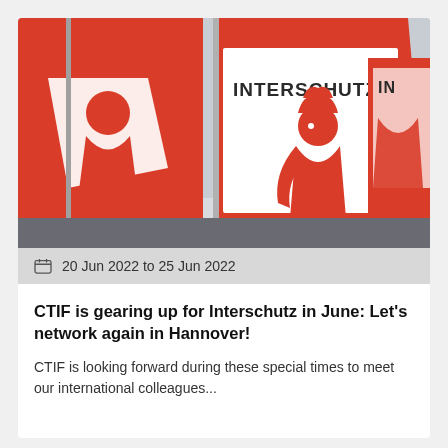[Figure (photo): Red and white flags with the INTERSCHUTZ logo (firefighter mascot) flying on poles against a light overcast sky. The word INTERSCHUTZ is visible in dark text on the central flag.]
20 Jun 2022 to 25 Jun 2022
CTIF is gearing up for Interschutz in June: Let's network again in Hannover!
CTIF is looking forward during these special times to meet our international colleagues...